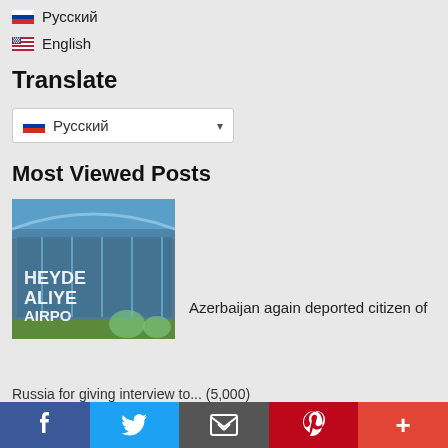🇷🇺 Русский
🇺🇸 English
Translate
Русский (dropdown)
Most Viewed Posts
[Figure (photo): Heydar Aliyev International Airport exterior with glass facade and text signs HEYDE, ALIYE, AIRPO visible]
Azerbaijan again deported citizen of
Russia for giving interview to... (5,000)
Social share bar: Facebook, Twitter, Email, Pinterest, More